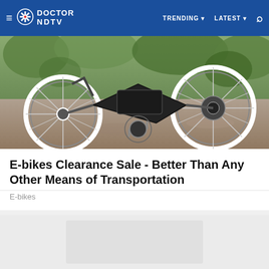DOCTOR NDTV — TRENDING — LATEST
[Figure (photo): Close-up photograph of an e-bike showing wheels, pedals, and mechanical components on a gravel/outdoor background with greenery]
E-bikes Clearance Sale - Better Than Any Other Means of Transportation
E-bikes